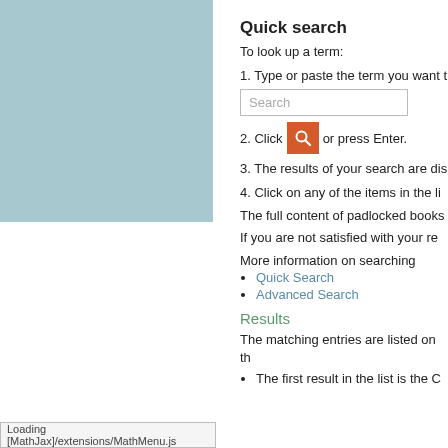[Figure (illustration): Light blue/teal rectangle on the left side of the page, representing a UI panel or image placeholder.]
Quick search
To look up a term:
1. Type or paste the term you want t
[Figure (screenshot): A search input box with placeholder text 'Search'.]
2. Click [search icon button] or press Enter.
3. The results of your search are dis
4. Click on any of the items in the li
The full content of padlocked books
If you are not satisfied with your re
More information on searching
Quick Search
Advanced Search
Results
The matching entries are listed on th
The first result in the list is the C
Loading [MathJax]/extensions/MathMenu.js